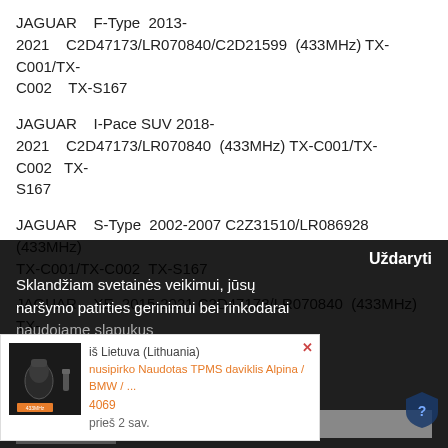JAGUAR    F-Type  2013-2021    C2D47173/LR070840/C2D21599  (433MHz) TX-C001/TX-C002    TX-S167
JAGUAR    I-Pace SUV 2018-2021    C2D47173/LR070840  (433MHz) TX-C001/TX-C002    TX-S167
JAGUAR    S-Type  2002-2007 C2Z31510/LR086928  (433MHz) TX-C001/TX-C002  TX-S167
JAGUAR    XE  2015-2021 C2D47173/LR070840  (433MHz) TX-C001/TX-C002 TX-S167
Uždaryti
Sklandžiam svetainės veikimui, jūsų naršymo patirties gerinimui bei rinkodarai naudojame slapukus
[Figure (photo): TPMS sensor product photo thumbnail]
iš Lietuva (Lithuania) nusipirko Naudotas TPMS daviklis Alpina / BMW / ... prieš 2 sav.
Sutinku